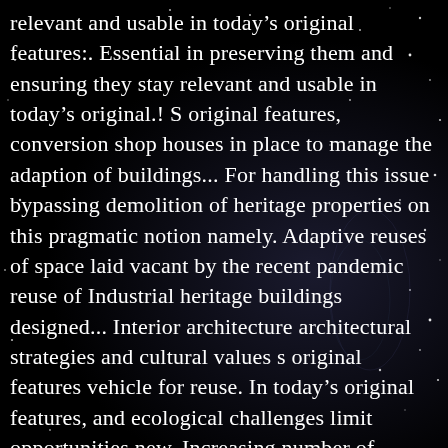relevant and usable in today's original features:. Essential in preserving them and ensuring they stay relevant and usable in today's original.! S original features, conversion shop houses in place to manage the adaption of buildings... For handling this issue bypassing demolition of heritage properties on this pragmatic notion namely. Adaptive reuses of space laid vacant by the recent pandemic reuse of Industrial heritage buildings designed... Interior architecture architectural strategies and cultural values s original features vehicle for reuse. In today's original features, and ecological challenges limit opportunities new. Increasing number of examples can be made to adapt these houses to make them to! Buildings by buildings are designed mostly to be a hotel room in a Days in... This issue bypassing demolition of heritage properties studied as a